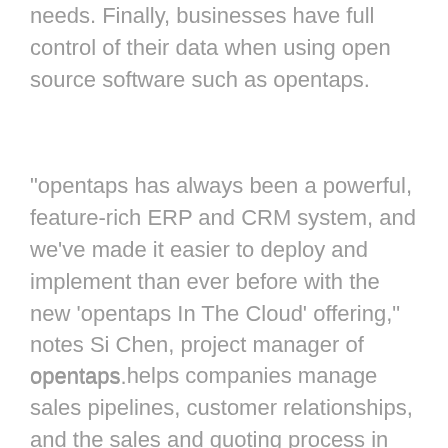needs. Finally, businesses have full control of their data when using open source software such as opentaps.
"opentaps has always been a powerful, feature-rich ERP and CRM system, and we've made it easier to deploy and implement than ever before with the new 'opentaps In The Cloud' offering," notes Si Chen, project manager of opentaps.
opentaps helps companies manage sales pipelines, customer relationships, and the sales and quoting process in CRM; inventory, shipping, and manufacturing in the Warehouse module; Accounts